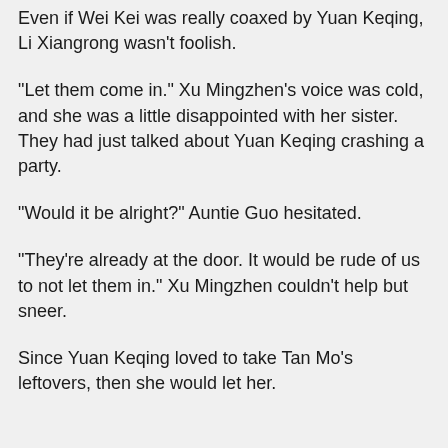Even if Wei Kei was really coaxed by Yuan Keqing, Li Xiangrong wasn't foolish.
“Let them come in.” Xu Mingzhen’s voice was cold, and she was a little disappointed with her sister. They had just talked about Yuan Keqing crashing a party.
“Would it be alright?” Auntie Guo hesitated.
“They’re already at the door. It would be rude of us to not let them in.” Xu Mingzhen couldn’t help but sneer.
Since Yuan Keqing loved to take Tan Mo’s leftovers, then she would let her.